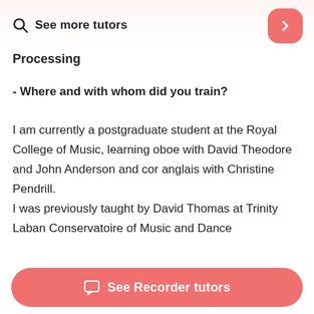See more tutors
Processing
- Where and with whom did you train?
I am currently a postgraduate student at the Royal College of Music, learning oboe with David Theodore and John Anderson and cor anglais with Christine Pendrill.
I was previously taught by David Thomas at Trinity Laban Conservatoire of Music and Dance
See Recorder tutors